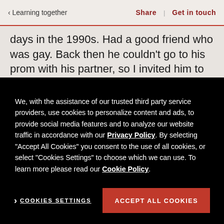< Learning together | Share | Get in touch
days in the 1990s. Had a good friend who was gay. Back then he couldn't go to his prom with his partner, so I invited him to go as my partner. It was considered such a big deal back then. What a contrast to the response at Amdocs to my
We, with the assistance of our trusted third party service providers, use cookies to personalize content and ads, to provide social media features and to analyze our website traffic in accordance with our Privacy Policy. By selecting "Accept All Cookies" you consent to the use of all cookies, or select "Cookies Settings" to choose which we can use. To learn more please read our Cookie Policy.
Cookies Settings
Accept All Cookies